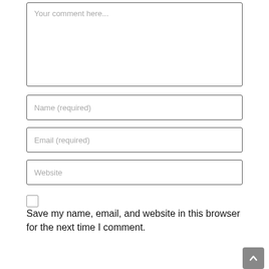[Figure (screenshot): Comment textarea input field with placeholder text 'Your comment here...']
[Figure (screenshot): Text input field with placeholder 'Name (required)']
[Figure (screenshot): Text input field with placeholder 'Email (required)']
[Figure (screenshot): Text input field with placeholder 'Website']
[Figure (screenshot): Unchecked checkbox]
Save my name, email, and website in this browser for the next time I comment.